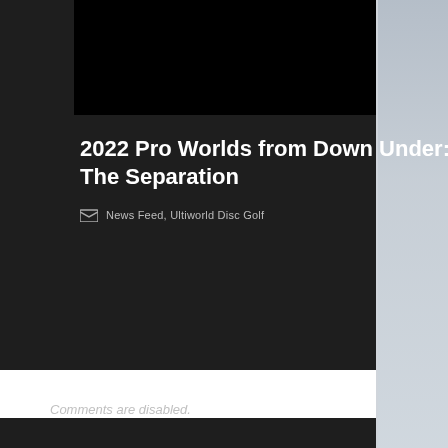[Figure (photo): Black image block at top of article card]
2022 Pro Worlds from Down Under: The Separation
News Feed, Ultiworld Disc Golf
Comments are disabled.
Other Posts